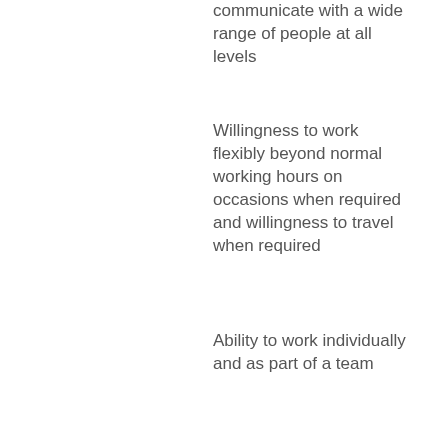communicate with a wide range of people at all levels
Willingness to work flexibly beyond normal working hours on occasions when required and willingness to travel when required
Ability to work individually and as part of a team